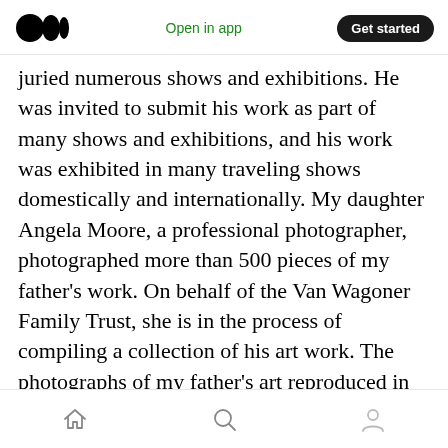Medium logo | Open in app | Get started
juried numerous shows and exhibitions. He was invited to submit his work as part of many shows and exhibitions, and his work was exhibited in many traveling shows domestically and internationally. My daughter Angela Moore, a professional photographer, photographed more than 500 pieces of my father’s work. On behalf of the Van Wagoner Family Trust, she is in the process of compiling a collection of his art work. The photographs of my father’s art reproduced in https://medium.com/@richardvanwagoner and https://lastamendment.com are hers
Home | Search | Profile